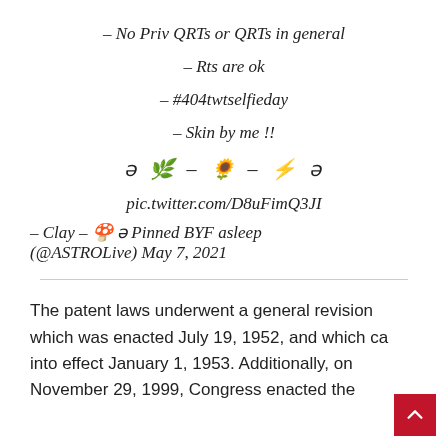– No Priv QRTs or QRTs in general
– Rts are ok
– #404twtselfieday
– Skin by me !!
ə 🌿 – 🌻 – ⚡ ə
pic.twitter.com/D8uFimQ3JI
– Clay – 🍄 ə Pinned BYF asleep (@ASTROLive) May 7, 2021
The patent laws underwent a general revision which was enacted July 19, 1952, and which came into effect January 1, 1953. Additionally, on November 29, 1999, Congress enacted the